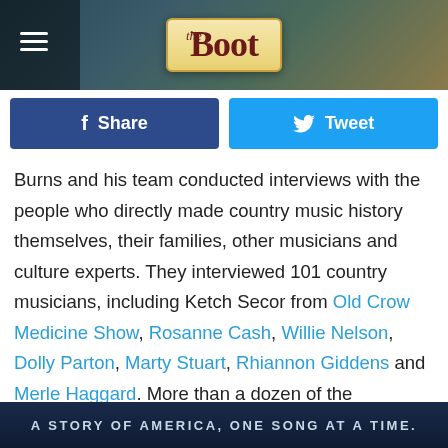the Boot
[Figure (infographic): Facebook Share button (dark blue) and Twitter Tweet button (light blue) side by side]
Burns and his team conducted interviews with the people who directly made country music history themselves, their families, other musicians and culture experts. They interviewed 101 country musicians, including Ketch Secor from Old Crow Medicine Show, Rosanne Cash, Willie Nelson, Dolly Parton, Marty Stuart, Rhiannon Giddens and Merle Haggard. More than a dozen of the participants died before Burns and company were done filming, making those perspectives even more rare and important.
A STORY OF AMERICA, ONE SONG AT A TIME.